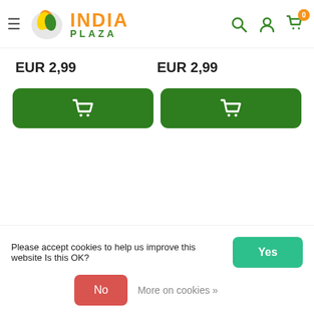[Figure (logo): India Plaza logo with leaf icon, orange INDIA text, green PLAZA text]
EUR 2,99
EUR 2,99
[Figure (other): Green add to cart button with shopping cart icon]
[Figure (other): Green add to cart button with shopping cart icon]
Please accept cookies to help us improve this website Is this OK?
Yes
No
More on cookies »